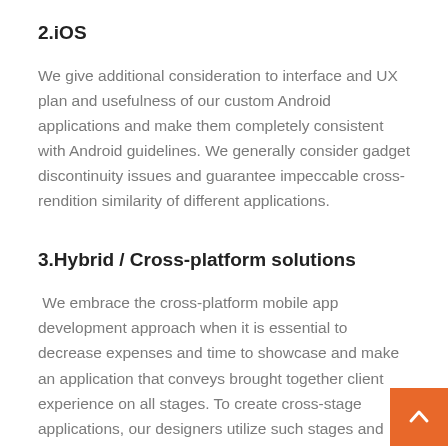2.iOS
We give additional consideration to interface and UX plan and usefulness of our custom Android applications and make them completely consistent with Android guidelines. We generally consider gadget discontinuity issues and guarantee impeccable cross-rendition similarity of different applications.
3.Hybrid / Cross-platform solutions
We embrace the cross-platform mobile app development approach when it is essential to decrease expenses and time to showcase and make an application that conveys brought together client experience on all stages. To create cross-stage applications, our designers utilize such stages and